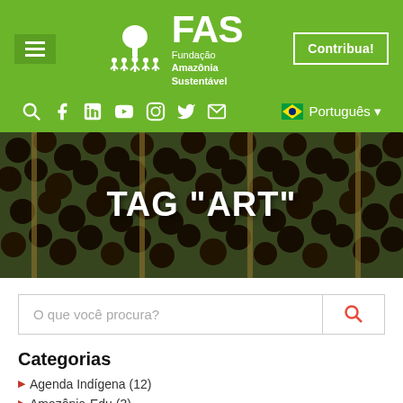FAS Fundação Amazônia Sustentável — Contribua!
[Figure (screenshot): FAS website header with green background, hamburger menu, tree/people logo, FAS title, Contribua button, social media icons, and language selector showing Português]
TAG "ART"
O que você procura? [search box]
Categorias
Agenda Indígena (12)
Amazônia-Edu (3)